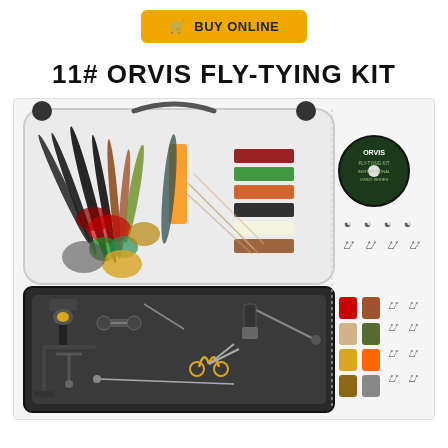[Figure (other): Yellow 'BUY ONLINE' button with shopping cart icon]
11# ORVIS FLY-TYING KIT
[Figure (photo): Photo of the Orvis Fly-Tying Kit showing an open plastic carrying case with fly-tying materials including feathers, threads, and tools in the top section, and a foam-lined bottom section with tools including vise, scissors, bobbin, and other fly-tying instruments. To the right of the case are an Orvis instructional DVD, fishing hooks of various sizes, spools of colored thread, and additional small components.]